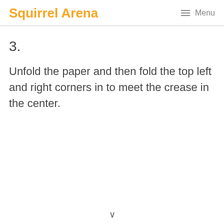Squirrel Arena  ☰ Menu
3.
Unfold the paper and then fold the top left and right corners in to meet the crease in the center.
∨